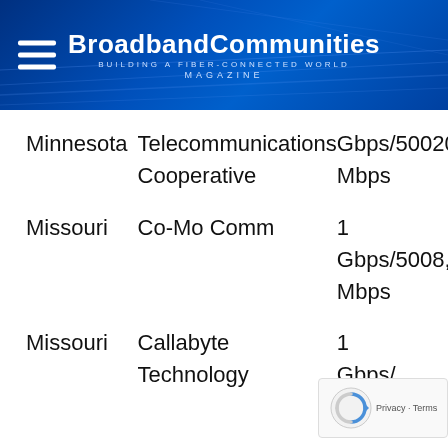BroadbandCommunities BUILDING A FIBER-CONNECTED WORLD MAGAZINE
| State | Provider | Speed |
| --- | --- | --- |
| Minnesota | Telecommunications Cooperative | Gbps/500209 Mbps |
| Missouri | Co-Mo Comm | 1 Gbps/5008,35 Mbps |
| Missouri | Callabyte Technology | 1 Gbps/ Mbps |